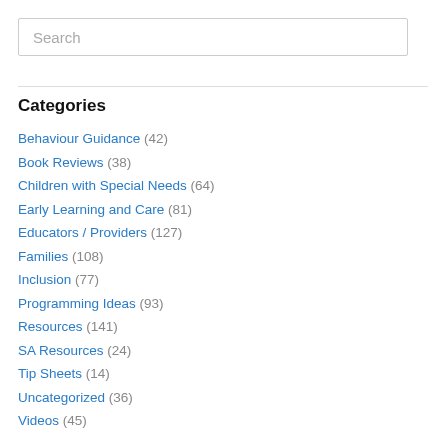Search
Categories
Behaviour Guidance (42)
Book Reviews (38)
Children with Special Needs (64)
Early Learning and Care (81)
Educators / Providers (127)
Families (108)
Inclusion (77)
Programming Ideas (93)
Resources (141)
SA Resources (24)
Tip Sheets (14)
Uncategorized (36)
Videos (45)